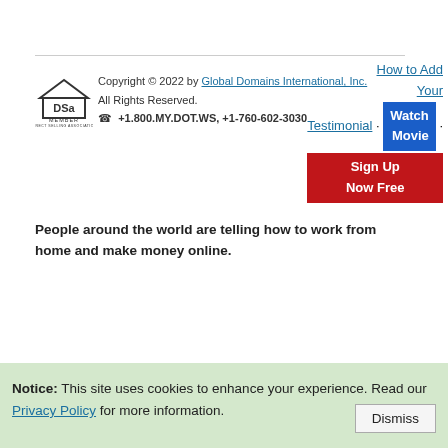Copyright © 2022 by Global Domains International, Inc. All Rights Reserved. ☎ +1.800.MY.DOT.WS, +1-760-602-3030
How to Add Your Testimonial · Watch Movie · Sign Up Now Free
People around the world are telling how to work from home and make money online.
Notice: This site uses cookies to enhance your experience. Read our Privacy Policy for more information.